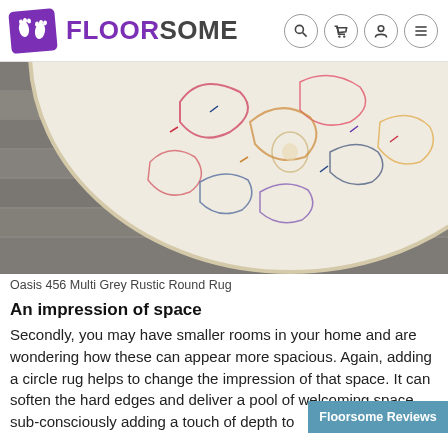FLOORSOME
[Figure (photo): Round decorative rug with multicolor rustic pattern on grey wood floor background]
Oasis 456 Multi Grey Rustic Round Rug
An impression of space
Secondly, you may have smaller rooms in your home and are wondering how these can appear more spacious. Again, adding a circle rug helps to change the impression of that space. It can soften the hard edges and deliver a pool of welcoming space, sub-consciously adding a touch of depth to